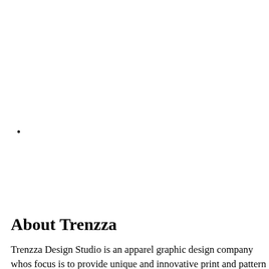•
About Trenzza
Trenzza Design Studio is an apparel graphic design company whose focus is to provide unique and innovative print and pattern designs that are provided to apparel and lifestyle companies and